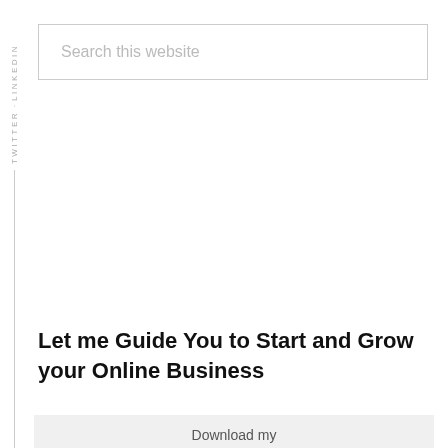LINKEDIN · TWITTER
[Figure (screenshot): Search input box with placeholder text 'Search this website']
Let me Guide You to Start and Grow your Online Business
Download my